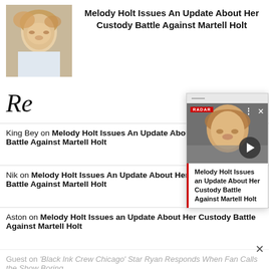[Figure (photo): Thumbnail photo of a blonde woman smiling, top left corner of article header]
Melody Holt Issues An Update About Her Custody Battle Against Martell Holt
Re
King Bey on Melody Holt Issues An Update About Her Custody Battle Against Martell Holt
Nik on Melody Holt Issues An Update About Her Custody Battle Against Martell Holt
Aston on Melody Holt Issues an Update About Her Custody Battle Against Martell Holt
Guest on ‘Black Ink Crew Chicago’ Star Ryan Responds When Fan Calls the Show Boring
[Figure (photo): Video overlay card showing a close-up of a smiling blonde woman, with logo, controls, and caption reading: Melody Holt Issues an Update About Her Custody Battle Against Martell Holt]